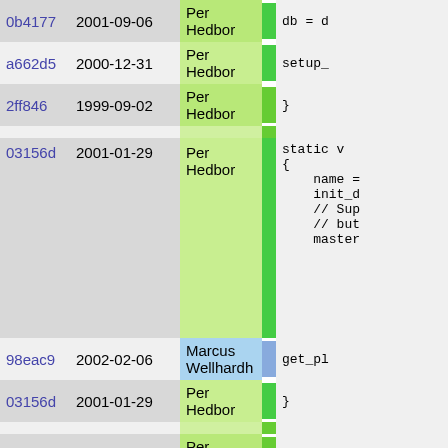| Hash | Date | Author |  | Code |
| --- | --- | --- | --- | --- |
| 0b4177 | 2001-09-06 | Per Hedbor |  | db = d |
| a662d5 | 2000-12-31 | Per Hedbor |  | setup_ |
| 2ff846 | 1999-09-02 | Per Hedbor |  | } |
| 03156d | 2001-01-29 | Per Hedbor |  | static v
{
    name =
    init_d
    // Sup
    // but
    master |
| 98eac9 | 2002-02-06 | Marcus Wellhardh |  | get_pl |
| 03156d | 2001-01-29 | Per Hedbor |  | } |
| 6dde08 | 2001-08-20 | Per Hedbor |  | string r |
| 2ff846 | 1999-09-02 | Per Hedbor |  | { |
| 63c456 | 2001-09-06 | Per Hedbor |  | LOCK() |
| 19e34e | 2001-06-15 | Per Hedbor |  | array |
| a662d5 | 2000-12-31 | Per Hedbor |  | if( si |
| 2ff846 | 1999-09-02 | Per Hedbor |  | { |
| 19e34e | 2001-06-15 | Per Hedbor |  | QUER |